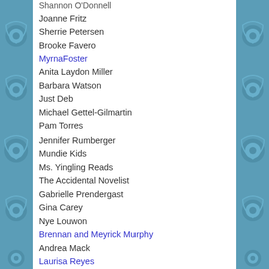Joanne Fritz
Sherrie Petersen
Brooke Favero
MyrnaFoster
Anita Laydon Miller
Barbara Watson
Just Deb
Michael Gettel-Gilmartin
Pam Torres
Jennifer Rumberger
Mundie Kids
Ms. Yingling Reads
The Accidental Novelist
Gabrielle Prendergast
Gina Carey
Nye Louwon
Brennan and Meyrick Murphy
Andrea Mack
Laurisa Reyes
Kim Aippersbach
Akossiwa Ketoglo
Julia from That's Swell